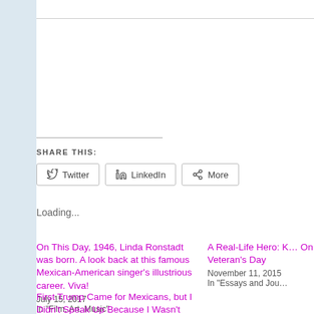SHARE THIS:
Twitter  LinkedIn  More
Loading...
On This Day, 1946, Linda Ronstadt was born. A look back at this famous Mexican-American singer's illustrious career. Viva!
July 15, 2017
In "Film, Art, Music"
A Real-Life Hero: [truncated] On Veteran's Day
November 11, 2015
In "Essays and Jou[rnal]"
First Trump Came for Mexicans, but I Didn't Speak Up Because I Wasn't Mexican. Then They Came for Me — and by That Time, No One was Left to Speak Up